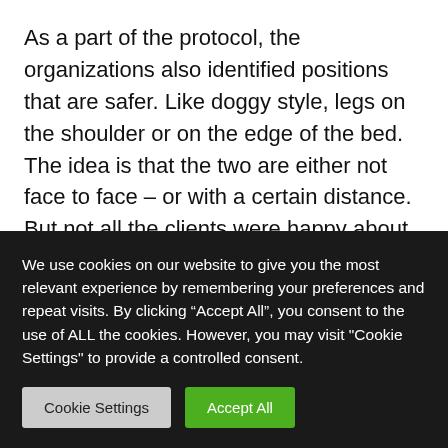As a part of the protocol, the organizations also identified positions that are safer. Like doggy style, legs on the shoulder or on the edge of the bed. The idea is that the two are either not face to face – or with a certain distance. But not all the clients were happy about these new rules, tells Rogelia:
“Some said they don’t like it, that they want it the
We use cookies on our website to give you the most relevant experience by remembering your preferences and repeat visits. By clicking “Accept All”, you consent to the use of ALL the cookies. However, you may visit "Cookie Settings" to provide a controlled consent.